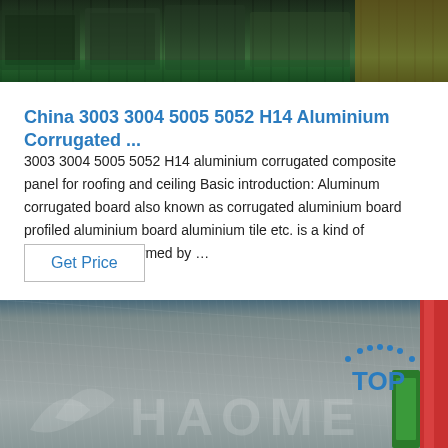[Figure (photo): Photo of aluminium products stacked in a warehouse with green background]
China 3003 3004 5005 5052 H14 Aluminium Corrugated ...
3003 3004 5005 5052 H14 aluminium corrugated composite panel for roofing and ceiling Basic introduction: Aluminum corrugated board also known as corrugated aluminium board profiled aluminium board aluminium tile etc. is a kind of corrugated plate formed by …
Get Price
[Figure (photo): Photo of a brushed aluminium/metal sheet with HAOME logo watermark and a TOP badge in the bottom right corner]